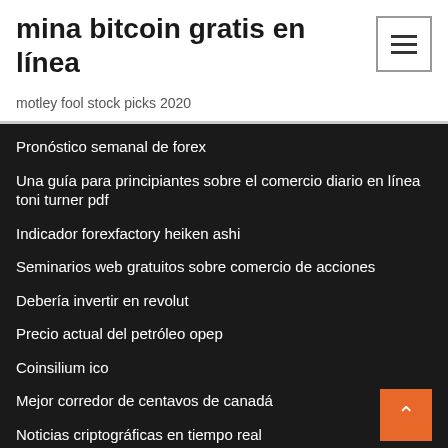mina bitcoin gratis en línea
motley fool stock picks 2020
Pronóstico semanal de forex
Una guía para principiantes sobre el comercio diario en línea toni turner pdf
Indicador forexfactory heiken ashi
Seminarios web gratuitos sobre comercio de acciones
Debería invertir en revolut
Precio actual del petróleo opep
Coinsilium ico
Mejor corredor de centavos de canadá
Noticias criptográficas en tiempo real